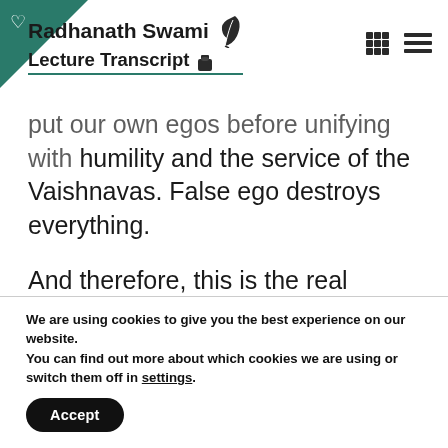Radhanath Swami Lecture Transcript
put our own egos before unifying with humility and the service of the Vaishnavas. False ego destroys everything.
And therefore, this is the real secret of success of doing the work of Sri Caitanya, following in the footsteps of his and his con...
We are using cookies to give you the best experience on our website.
You can find out more about which cookies we are using or switch them off in settings.
Accept